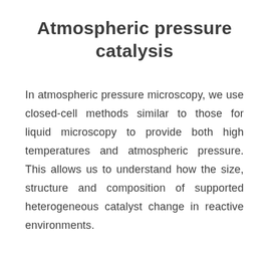Atmospheric pressure catalysis
In atmospheric pressure microscopy, we use closed-cell methods similar to those for liquid microscopy to provide both high temperatures and atmospheric pressure. This allows us to understand how the size, structure and composition of supported heterogeneous catalyst change in reactive environments.